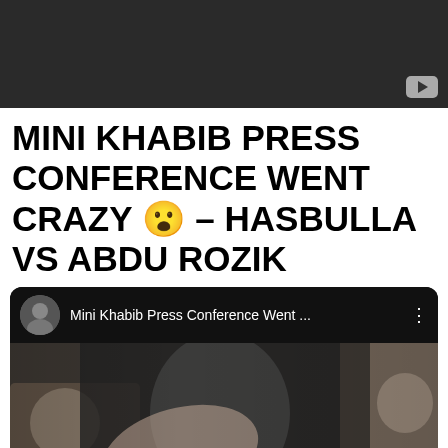[Figure (screenshot): Dark YouTube video player thumbnail at top — dark grey background with YouTube icon in bottom right]
MINI KHABIB PRESS CONFERENCE WENT CRAZY 😮 – HASBULLA VS ABDU ROZIK
[Figure (screenshot): YouTube video card with channel avatar (Khabib face), title 'Mini Khabib Press Conference Went ...', three-dot menu, and a video thumbnail showing people at a press conference with YouTube play button overlay]